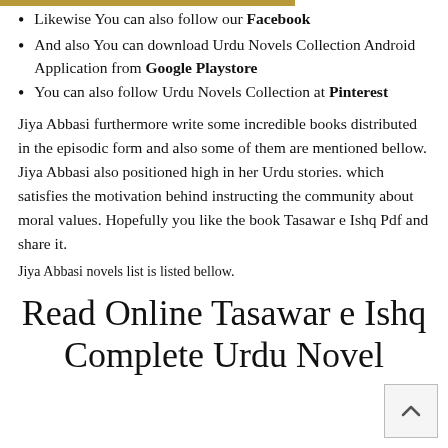Likewise You can also follow our Facebook
And also You can download Urdu Novels Collection Android Application from Google Playstore
You can also follow Urdu Novels Collection at Pinterest
Jiya Abbasi furthermore write some incredible books distributed in the episodic form and also some of them are mentioned bellow. Jiya Abbasi also positioned high in her Urdu stories. which satisfies the motivation behind instructing the community about moral values. Hopefully you like the book Tasawar e Ishq Pdf and share it.
Jiya Abbasi novels list is listed bellow.
Read Online Tasawar e Ishq Complete Urdu Novel